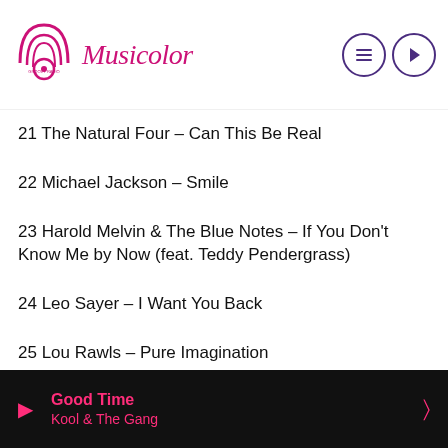Musicolor
21 The Natural Four – Can This Be Real
22 Michael Jackson – Smile
23 Harold Melvin & The Blue Notes – If You Don't Know Me by Now (feat. Teddy Pendergrass)
24 Leo Sayer – I Want You Back
25 Lou Rawls – Pure Imagination
26 George Duke – Born to Love You
28 Billy Paul – Without You
29 Keith Sweat – Make It Last Forever (with Jacci McGhee)
30 Commodores – Three Times A Lady
Good Time
Kool & The Gang